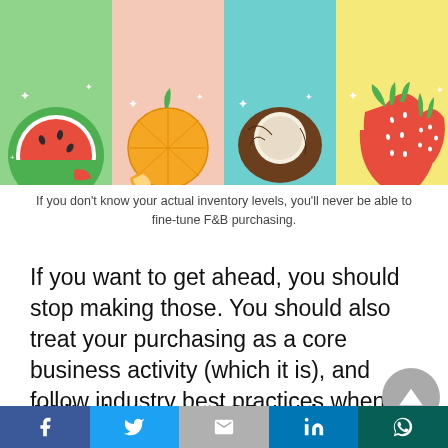[Figure (illustration): A 4-column grid of colorful fruit illustrations: watermelon, orange, coconut, and strawberry on colored backgrounds (green, peach/yellow, teal, pink)]
If you don't know your actual inventory levels, you'll never be able to fine-tune F&B purchasing.
If you want to get ahead, you should stop making those. You should also treat your purchasing as a core business activity (which it is), and follow industry best practices when setting it up:
Write down your SOPs and procedures — know how you purchase your F&B inventory and
Social share bar: Facebook, Twitter, Gmail, LinkedIn, WhatsApp